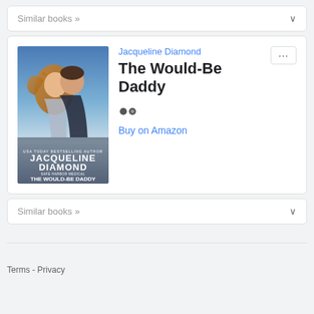Similar books »
[Figure (illustration): Book cover of 'The Would-Be Daddy' by Jacqueline Diamond, Harlequin American Romance series. Shows a couple embracing outdoors with a blue sky background.]
Jacqueline Diamond
The Would-Be Daddy
Buy on Amazon
Similar books »
Terms - Privacy